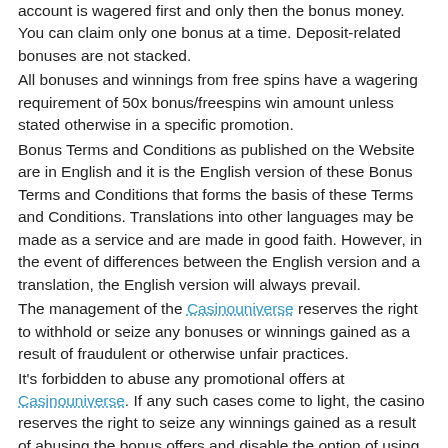account is wagered first and only then the bonus money. You can claim only one bonus at a time. Deposit-related bonuses are not stacked. All bonuses and winnings from free spins have a wagering requirement of 50x bonus/freespins win amount unless stated otherwise in a specific promotion. Bonus Terms and Conditions as published on the Website are in English and it is the English version of these Bonus Terms and Conditions that forms the basis of these Terms and Conditions. Translations into other languages may be made as a service and are made in good faith. However, in the event of differences between the English version and a translation, the English version will always prevail. The management of the Casinouniverse reserves the right to withhold or seize any bonuses or winnings gained as a result of fraudulent or otherwise unfair practices. It's forbidden to abuse any promotional offers at Casinouniverse. If any such cases come to light, the casino reserves the right to seize any winnings gained as a result of abusing the bonus offers and disable the option of using any bonuses for that account in